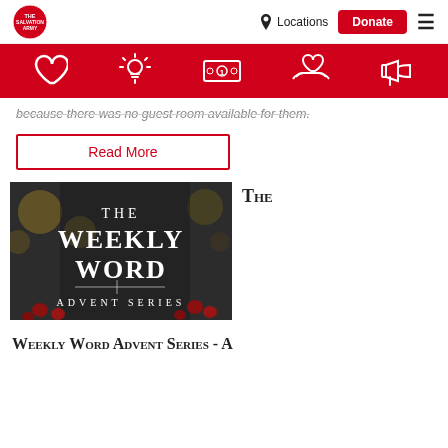[Figure (screenshot): Salvation Army logo in top-left navigation bar]
Locations
Donate
[Figure (illustration): Red navigation icon bar with heart, light bulb, dollar bill, hands with heart, and megaphone icons]
because there was no guest room available for them.
Read More
[Figure (photo): The Weekly Word Advent Series promotional image with dark bokeh background and red berries]
The
Weekly Word Advent Series - A